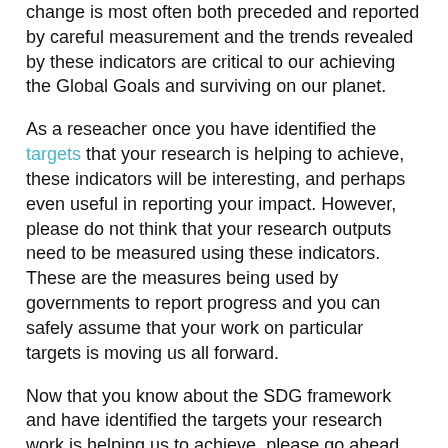change is most often both preceded and reported by careful measurement and the trends revealed by these indicators are critical to our achieving the Global Goals and surviving on our planet.
As a reseacher once you have identified the targets that your research is helping to achieve, these indicators will be interesting, and perhaps even useful in reporting your impact. However, please do not think that your research outputs need to be measured using these indicators.  These are the measures being used by governments to report progress and you can safely assume that your work on particular targets is moving us all forward.
Now that you know about the SDG framework and have identified the targets your research work is helping us to achieve, please go ahead and build your own researcher page to tell us about your work.  Get started using the big red button at the top of this page.